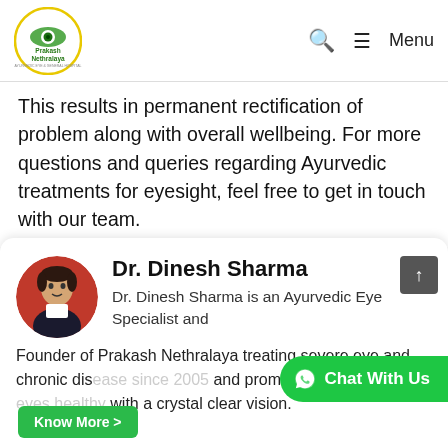[Figure (logo): Prakash Nethralaya logo — circular logo with eye graphic, green and yellow colors, text reads Prakash Nethralaya, Ayurvedic Eye & General Hospital]
🔍  ☰ Menu
This results in permanent rectification of problem along with overall wellbeing. For more questions and queries regarding Ayurvedic treatments for eyesight, feel free to get in touch with our team.
Dr. Dinesh Sharma
Dr. Dinesh Sharma is an Ayurvedic Eye Specialist and Founder of Prakash Nethralaya treating severe eye and chronic dis… since 2005 and promoting ways to k… with a crystal clear vision.